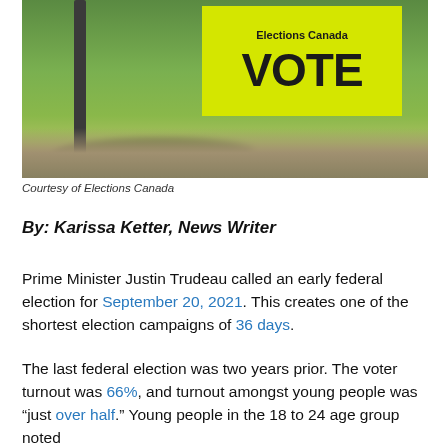[Figure (photo): A yellow Elections Canada VOTE sign on a pole in front of a grassy area with a stone path.]
Courtesy of Elections Canada
By: Karissa Ketter, News Writer
Prime Minister Justin Trudeau called an early federal election for September 20, 2021. This creates one of the shortest election campaigns of 36 days.
The last federal election was two years prior. The voter turnout was 66%, and turnout amongst young people was “just over half.” Young people in the 18 to 24 age group noted